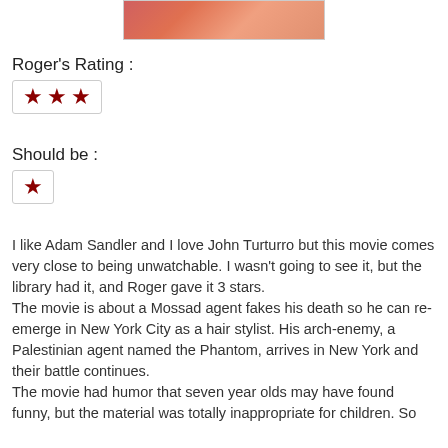[Figure (photo): Partial image at top of page showing a cropped photo, appears to be a person]
Roger's Rating :
[Figure (infographic): Three dark red stars in a bordered box representing Roger's Rating of 3 stars]
Should be :
[Figure (infographic): One dark red star in a bordered box representing the reviewer's rating of 1 star]
I like Adam Sandler and I love John Turturro but this movie comes very close to being unwatchable. I wasn't going to see it, but the library had it, and Roger gave it 3 stars.
The movie is about a Mossad agent fakes his death so he can re-emerge in New York City as a hair stylist. His arch-enemy, a Palestinian agent named the Phantom, arrives in New York and their battle continues.
The movie had humor that seven year olds may have found funny, but the material was totally inappropriate for children. So